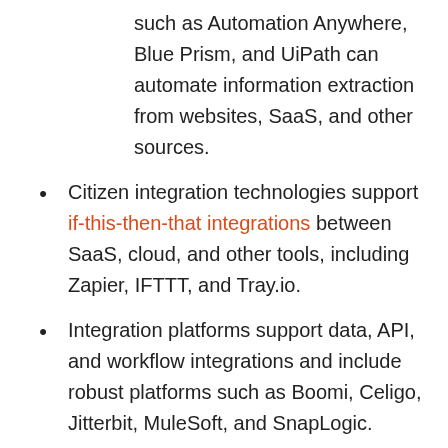such as Automation Anywhere, Blue Prism, and UiPath can automate information extraction from websites, SaaS, and other sources.
Citizen integration technologies support if-this-then-that integrations between SaaS, cloud, and other tools, including Zapier, IFTTT, and Tray.io.
Integration platforms support data, API, and workflow integrations and include robust platforms such as Boomi, Celigo, Jitterbit, MuleSoft, and SnapLogic.
IT automation, quality assurance test automation, CI/CD, and configuring